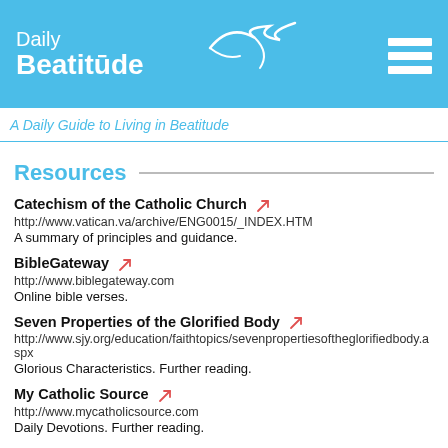Daily Beatitude — A Daily Guide to Living in Beatitude
Resources
Catechism of the Catholic Church
http://www.vatican.va/archive/ENG0015/_INDEX.HTM
A summary of principles and guidance.
BibleGateway
http://www.biblegateway.com
Online bible verses.
Seven Properties of the Glorified Body
http://www.sjy.org/education/faithtopics/sevenpropertiesoftheglorifiedbody.aspx
Glorious Characteristics. Further reading.
My Catholic Source
http://www.mycatholicsource.com
Daily Devotions. Further reading.